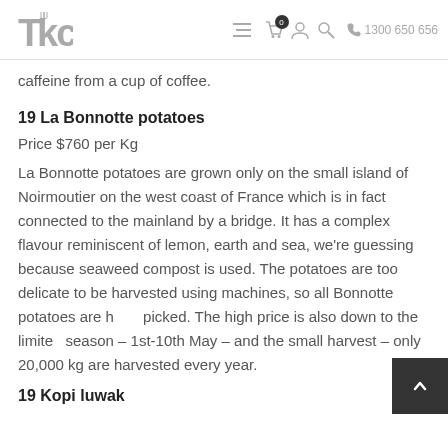TKC | Menu | Cart 0 | Account | Search | 1300 650 656
caffeine from a cup of coffee.
19 La Bonnotte potatoes
Price $760 per Kg
La Bonnotte potatoes are grown only on the small island of Noirmoutier on the west coast of France which is in fact connected to the mainland by a bridge. It has a complex flavour reminiscent of lemon, earth and sea, we're guessing because seaweed compost is used. The potatoes are too delicate to be harvested using machines, so all Bonnotte potatoes are hand picked. The high price is also down to the limited season – 1st-10th May – and the small harvest – only 20,000 kg are harvested every year.
19 Kopi luwak